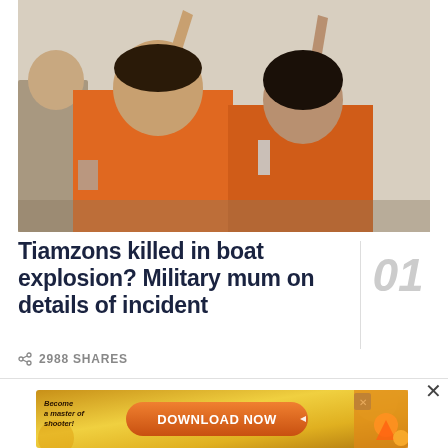[Figure (photo): Two people wearing orange shirts with arms raised, appearing at what looks like a press conference or public event. A man in front and a woman behind him, both with one arm raised. Another person partially visible on the left side.]
Tiamzons killed in boat explosion? Military mum on details of incident
2988 SHARES
[Figure (screenshot): Advertisement banner with golden background. Left side shows text 'Become a master of shooter!' in italic. Center has an orange rounded button with text 'DOWNLOAD NOW'. Right side shows colorful game graphics. Small close X button in top right of ad.]